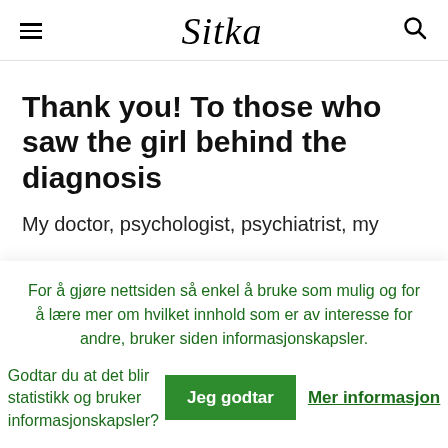≡ Sitka 🔍
Thank you! To those who saw the girl behind the diagnosis
My doctor, psychologist, psychiatrist, my
For å gjøre nettsiden så enkel å bruke som mulig og for å lære mer om hvilket innhold som er av interesse for andre, bruker siden informasjonskapsler.
Godtar du at det blir statistikk og bruker informasjonskapsler?
Jeg godtar
Mer informasjon